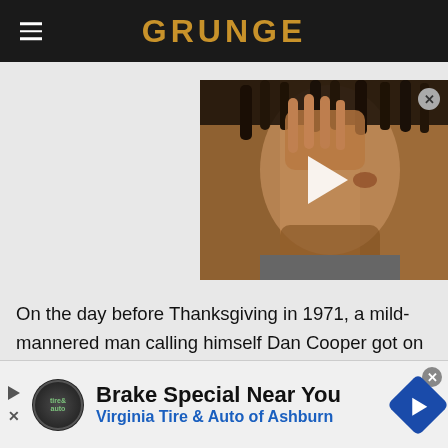GRUNGE
[Figure (photo): Video thumbnail showing a young man's face with dreadlocks, with a white play button overlay in the center]
On the day before Thanksgiving in 1971, a mild-mannered man calling himself Dan Cooper got on a Boeing plane with a bomb in his briefcase, quietly informed the flight crew that they were being hijacked for a ransom of $200,000, and flawlessly executed the only unsolved ac
[Figure (infographic): Advertisement: Brake Special Near You - Virginia Tire & Auto of Ashburn]